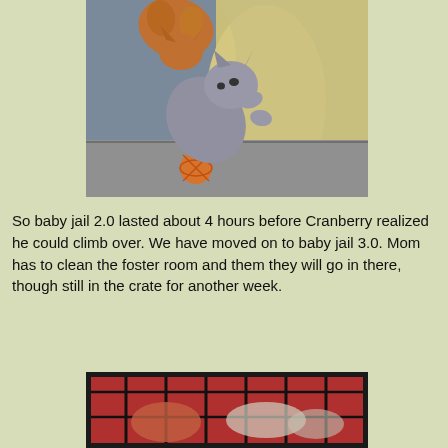[Figure (photo): A gray kitten is pressing against a beige curtain/fabric in the corner of what appears to be a cage or enclosure. There is an orange wicker ball toy near the kitten. An orange/tabby cat is visible in the upper portion, upside down.]
So baby jail 2.0 lasted about 4 hours before Cranberry realized he could climb over. We have moved on to baby jail 3.0. Mom has to clean the foster room and them they will go in there, though still in the crate for another week.
[Figure (photo): A wire/metal crate or cage with cats visible inside, shown from the front. The cage has a dark metal frame.]